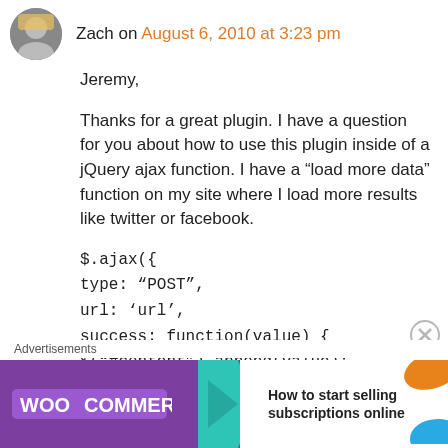Zach on August 6, 2010 at 3:23 pm
Jeremy,
Thanks for a great plugin. I have a question for you about how to use this plugin inside of a jQuery ajax function. I have a “load more data” function on my site where I load more results like twitter or facebook.
$.ajax({
type: “POST”,
url: ‘url’,
success: function(value) {
$("#content").append(value);
[Figure (infographic): WooCommerce advertisement banner: purple background with WooCommerce logo, teal arrow, orange leaf decoration, text 'How to start selling subscriptions online']
Advertisements